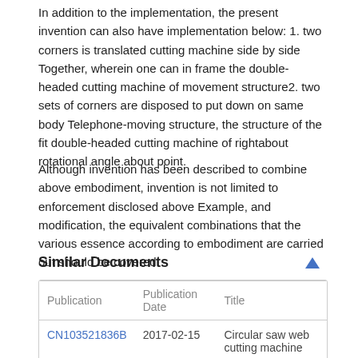In addition to the implementation, the present invention can also have implementation below: 1. two corners is translated cutting machine side by side Together, wherein one can in frame the double-headed cutting machine of movement structure2. two sets of corners are disposed to put down on same body Telephone-moving structure, the structure of the fit double-headed cutting machine of rightabout rotational angle about point.
Although invention has been described to combine above embodiment, invention is not limited to enforcement disclosed above Example, and modification, the equivalent combinations that the various essence according to embodiment are carried out should be covered.
Similar Documents
| Publication | Publication Date | Title |
| --- | --- | --- |
| CN103521836B | 2017-02-15 | Circular saw web cutting machine |
| CN201246705Y | 2009-11-18 | Small-sized carpenter... |